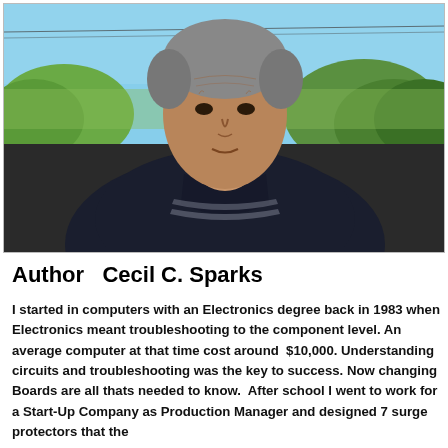[Figure (photo): Outdoor photograph of a middle-aged man with grey hair wearing a dark polo shirt with white stripes, photographed outdoors against a background of green shrubs and a blue sky.]
Author   Cecil C. Sparks
I started in computers with an Electronics degree back in 1983 when Electronics meant troubleshooting to the component level. An average computer at that time cost around  $10,000. Understanding circuits and troubleshooting was the key to success. Now changing Boards are all thats needed to know.  After school I went to work for a Start-Up Company as Production Manager and designed 7 surge protectors that the